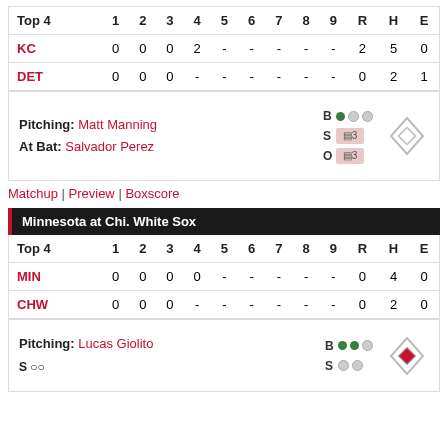| Top 4 | 1 | 2 | 3 | 4 | 5 | 6 | 7 | 8 | 9 | R | H | E |
| --- | --- | --- | --- | --- | --- | --- | --- | --- | --- | --- | --- | --- |
| KC | 0 | 0 | 0 | 2 | - | - | - | - | - | 2 | 5 | 0 |
| DET | 0 | 0 | 0 | - | - | - | - | - | - | 0 | 2 | 1 |
Pitching: Matt Manning
At Bat: Salvador Perez
B●○○ S[2-3] O[2-3]
Matchup | Preview | Boxscore
Minnesota at Chi. White Sox
| Top 4 | 1 | 2 | 3 | 4 | 5 | 6 | 7 | 8 | 9 | R | H | E |
| --- | --- | --- | --- | --- | --- | --- | --- | --- | --- | --- | --- | --- |
| MIN | 0 | 0 | 0 | 0 | - | - | - | - | - | 0 | 4 | 0 |
| CHW | 0 | 0 | 0 | - | - | - | - | - | - | 0 | 2 | 0 |
Pitching: Lucas Giolito
B●●○ S○○